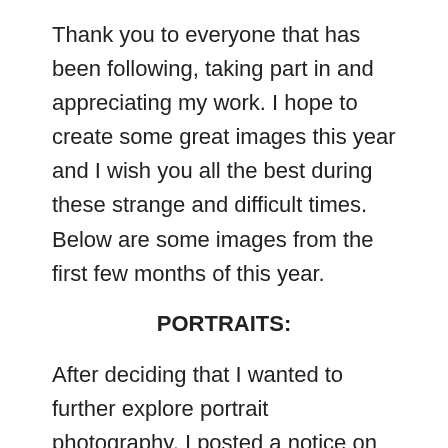Thank you to everyone that has been following, taking part in and appreciating my work. I hope to create some great images this year and I wish you all the best during these strange and difficult times. Below are some images from the first few months of this year.
PORTRAITS:
After deciding that I wanted to further explore portrait photography, I posted a notice on Facebook calling for collaborations. I was really surprised with the amount of interest that I received and I'm happy to keep moving forward with